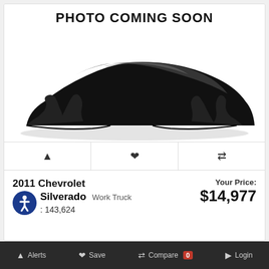PHOTO COMING SOON
[Figure (photo): Car covered with black drape/cloth, placeholder image for vehicle listing]
2011 Chevrolet Silverado Work Truck
Miles: 143,624
Your Price: $14,977
Alerts  Save  Compare 0  Login